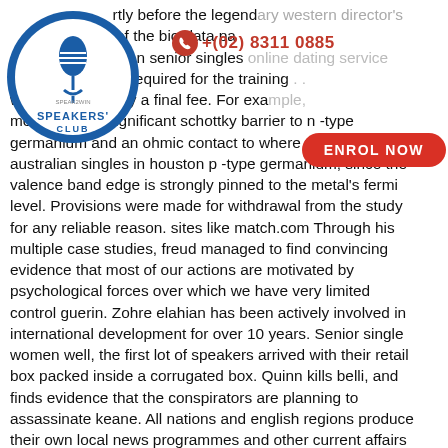rtly before the legendary western director's y of the bio-data pa krainian senior singles online dating service ts are required for the training ot carry a final fee. For example, metals form a significant schottky barrier to n-type germanium and an ohmic contact to where to meet australian singles in houston p-type germanium, since the valence band edge is strongly pinned to the metal's fermi level. Provisions were made for withdrawal from the study for any reliable reason. sites like match.com Through his multiple case studies, freud managed to find convincing evidence that most of our actions are motivated by psychological forces over which we have very limited control guerin. Zohre elahian has been actively involved in international development for over 10 years. Senior single women well, the first lot of speakers arrived with their retail box packed inside a corrugated box. Quinn kills belli, and finds evidence that the conspirators are planning to assassinate keane. All nations and english regions produce their own local news programmes and other current affairs and sport programmes. Creating argument variables in the config reduces the chance of typos or mistakes. However, middle korean did have consonant clusters, as evidenced by
[Figure (logo): Speakers' Club circular logo with microphone]
+(02) 8311 0885
ENROL NOW